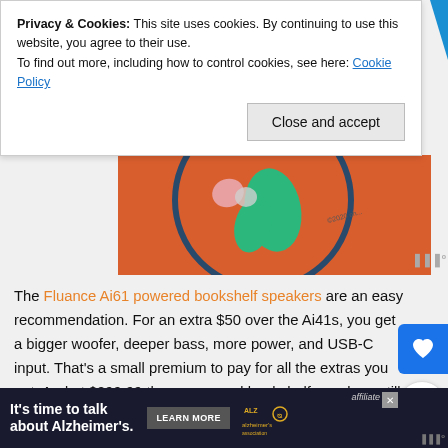Privacy & Cookies: This site uses cookies. By continuing to use this website, you agree to their use.
To find out more, including how to control cookies, see here: Cookie Policy
Close and accept
[Figure (illustration): Orange background with circular logo graphic containing green and pink blob shapes, dark blue circle border, and copyright text]
The Fluance Ai61 powered bookshelf speakers are an easy recommendation. For an extra $50 over the Ai41s, you get a bigger woofer, deeper bass, more power, and USB-C input. That's a small premium to pay for all the extras you get. And at $299.99 these powered bookshelf speakers still cost less than many portable Bluetooth speakers.
Disclosure: Fluance provided speakers for evaluation purposes but had [...]  affiliate
It's time to talk about Alzheimer's.
LEARN MORE